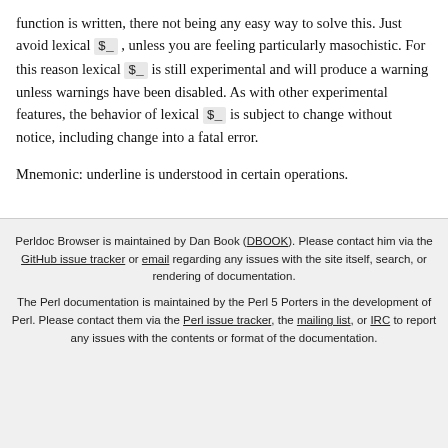function is written, there not being any easy way to solve this. Just avoid lexical $_ , unless you are feeling particularly masochistic. For this reason lexical $_ is still experimental and will produce a warning unless warnings have been disabled. As with other experimental features, the behavior of lexical $_ is subject to change without notice, including change into a fatal error.

Mnemonic: underline is understood in certain operations.
Perldoc Browser is maintained by Dan Book (DBOOK). Please contact him via the GitHub issue tracker or email regarding any issues with the site itself, search, or rendering of documentation.

The Perl documentation is maintained by the Perl 5 Porters in the development of Perl. Please contact them via the Perl issue tracker, the mailing list, or IRC to report any issues with the contents or format of the documentation.